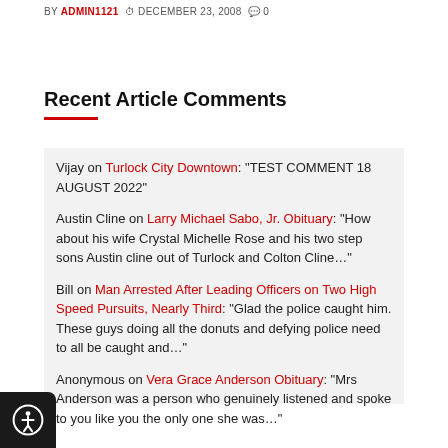BY ADMIN1121 · DECEMBER 23, 2008 · 0
Recent Article Comments
Vijay on Turlock City Downtown: "TEST COMMENT 18 AUGUST 2022"
Austin Cline on Larry Michael Sabo, Jr. Obituary: "How about his wife Crystal Michelle Rose and his two step sons Austin cline out of Turlock and Colton Cline…"
Bill on Man Arrested After Leading Officers on Two High Speed Pursuits, Nearly Third: "Glad the police caught him. These guys doing all the donuts and defying police need to all be caught and…"
Anonymous on Vera Grace Anderson Obituary: "Mrs Anderson was a person who genuinely listened and spoke to you like you the only one she was…"